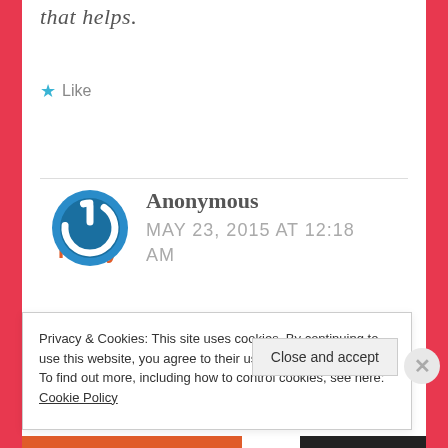that helps.
★ Like
Reply
Anonymous
MAY 23, 2015 AT 12:18 AM
Privacy & Cookies: This site uses cookies. By continuing to use this website, you agree to their use.
To find out more, including how to control cookies, see here: Cookie Policy
Close and accept